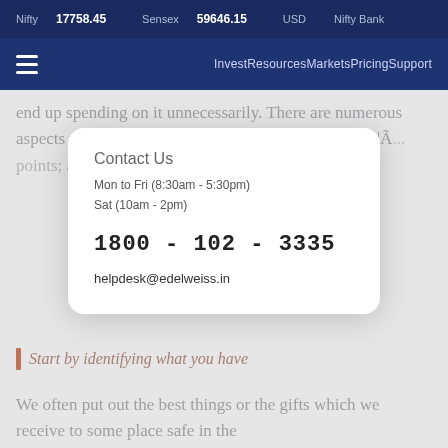Nifty 17758.45   Sensex 59646.15   USD   Nifty Bank
Invest Resources Markets Pricing Support
end up spending on it unnecessarily. There are numerous aspects which leads to trigger the hoarding... available... Ã¦Ã... points; and e... 'A" peer...
[Figure (screenshot): Contact Us modal card overlaying an article page from Edelweiss financial website. Modal shows contact hours Mon to Fri (8:30am - 5:30pm) Sat (10am - 2pm), phone number 1800 - 102 - 3335, and email helpdesk@edelweiss.in]
Start by identifying what you have
We often put out the best things or the gifts which we receive to some place safe in the